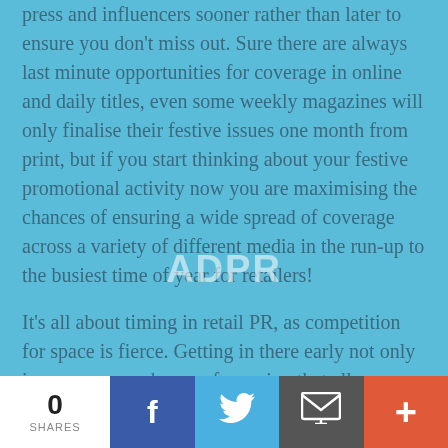press and influencers sooner rather than later to ensure you don't miss out. Sure there are always last minute opportunities for coverage in online and daily titles, even some weekly magazines will only finalise their festive issues one month from print, but if you start thinking about your festive promotional activity now you are maximising the chances of ensuring a wide spread of coverage across a variety of different media in the run-up to the busiest time of year for retailers!
It's all about timing in retail PR, as competition for space is fierce. Getting in there early not only increases your chance of securing that all important coverage, but also sets you apart from other brands and helps you forge closer links with key influencers and media. So be prepared, plan
[Figure (other): ADPR watermark text overlaid on the content area]
0 SHARES | Facebook share button | Twitter share button | Email share button | More share button